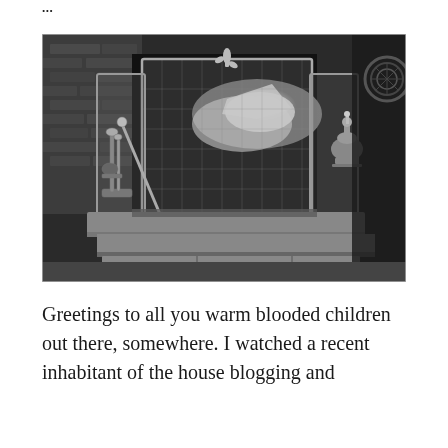...
[Figure (photo): Black and white photograph of a fireplace with a decorative folding fire screen/guard in front of it. The screen has a fleur-de-lis ornament at the top. Fireplace tools are visible on the left side, and a decorative urn/trophy stands to the right. The hearth is made of stone blocks. A bright flame is visible behind the screen.]
Greetings to all you warm blooded children out there, somewhere. I watched a recent inhabitant of the house blogging and